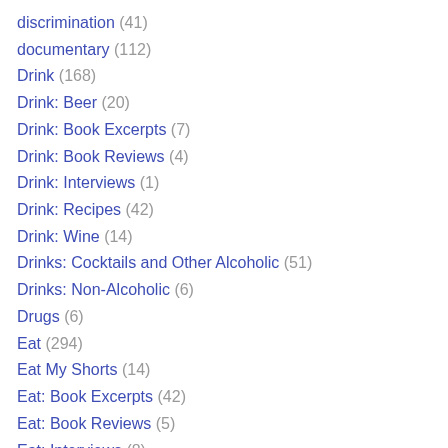discrimination (41)
documentary (112)
Drink (168)
Drink: Beer (20)
Drink: Book Excerpts (7)
Drink: Book Reviews (4)
Drink: Interviews (1)
Drink: Recipes (42)
Drink: Wine (14)
Drinks: Cocktails and Other Alcoholic (51)
Drinks: Non-Alcoholic (6)
Drugs (6)
Eat (294)
Eat My Shorts (14)
Eat: Book Excerpts (42)
Eat: Book Reviews (5)
Eat: Interviews (8)
Eat: Recipes (107)
Eat: Restaurant Features (12)
Eat: Restaurant Reviews (11)